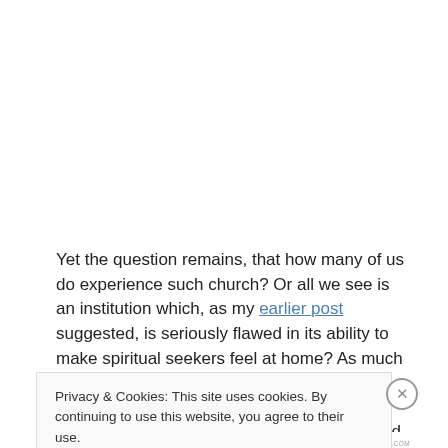Yet the question remains, that how many of us do experience such church? Or all we see is an institution which, as my earlier post suggested, is seriously flawed in its ability to make spiritual seekers feel at home? As much as people wants to be considered as both spiritual and religious, I think they will find it hard – not because of the absence of the kind of church which is depicted in the Bible and mentioned by Schmidt, but because it might
Privacy & Cookies: This site uses cookies. By continuing to use this website, you agree to their use.
To find out more, including how to control cookies, see here: Cookie Policy
Close and accept